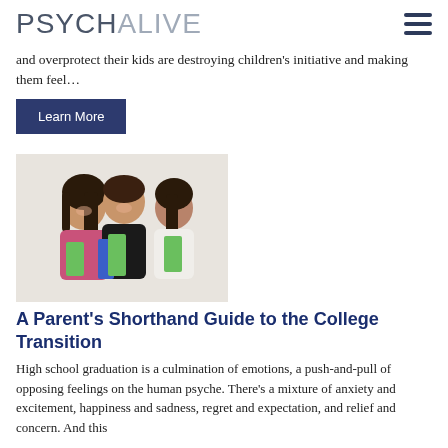PSYCHALIVE
and overprotect their kids are destroying children's initiative and making them feel…
Learn More
[Figure (photo): Three college-age students smiling, holding notebooks and binders, posed together on a white background]
A Parent's Shorthand Guide to the College Transition
High school graduation is a culmination of emotions, a push-and-pull of opposing feelings on the human psyche. There's a mixture of anxiety and excitement, happiness and sadness, regret and expectation, and relief and concern. And this